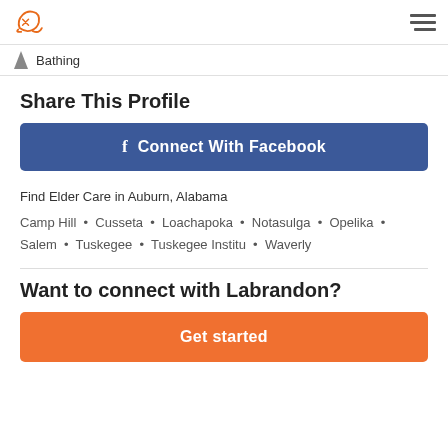Bathing
Share This Profile
[Figure (other): Connect With Facebook button — blue rounded rectangle with Facebook 'f' icon and text 'Connect With Facebook']
Find Elder Care in Auburn, Alabama
Camp Hill • Cusseta • Loachapoka • Notasulga • Opelika • Salem • Tuskegee • Tuskegee Institu • Waverly
Want to connect with Labrandon?
[Figure (other): Get started button — orange rounded rectangle with white text 'Get started']